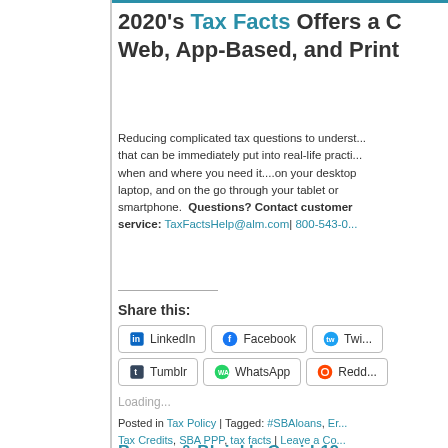2020's Tax Facts Offers a Complete Web, App-Based, and Print...
Reducing complicated tax questions to understandable answers that can be immediately put into real-life practice — when and where you need it....on your desktop, laptop, and on the go through your tablet or smartphone. Questions? Contact customer service: TaxFactsHelp@alm.com| 800-543-0...
Share this:
LinkedIn  Facebook  Twi...  Tumblr  WhatsApp  Redd...
Loading...
Posted in Tax Policy | Tagged: #SBAloans, Er... Tax Credits, SBA PPP, tax facts | Leave a Co...
Byrnes & Bloink's Covid-19...